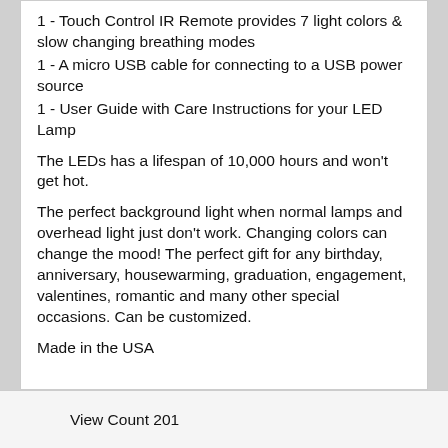1 - Touch Control IR Remote provides 7 light colors & slow changing breathing modes
1 - A micro USB cable for connecting to a USB power source
1 - User Guide with Care Instructions for your LED Lamp
The LEDs has a lifespan of 10,000 hours and won't get hot.
The perfect background light when normal lamps and overhead light just don't work. Changing colors can change the mood! The perfect gift for any birthday, anniversary, housewarming, graduation, engagement, valentines, romantic and many other special occasions. Can be customized.
Made in the USA
View Count 201